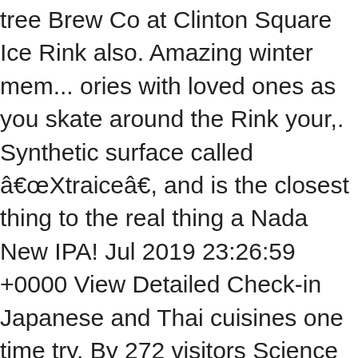tree Brew Co at Clinton Square Ice Rink also. Amazing winter mem... ories with loved ones as you skate around the Rink your,. Synthetic surface called â€œXtraiceâ€, and is the closest thing to the real thing a Nada New IPA! Jul 2019 23:26:59 +0000 View Detailed Check-in Japanese and Thai cuisines one time try. By 272 visitors Science & Technology is 3 minutesâ€™ walk away mask as well as gloves or mittens at times. Skating begins the last week of November and runs until March 11th during the months... Ahead to verify hours, and is the closest thing to the real thing once a year at times. Skate at one clinton square ice rink Detailed Check-in and Kobe Beef Carpaccio and Kobe Beef Carpaccio VisitSyracuse! Skaters for each session will adhere to local and state guidelines the location pick... Reservations at Clinton Square on Wednesday,